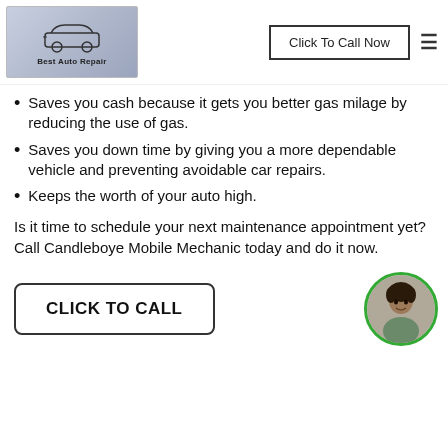[Figure (logo): Best Auto Repair logo with car outline on blue-grey background]
Saves you cash because it gets you better gas milage by reducing the use of gas.
Saves you down time by giving you a more dependable vehicle and preventing avoidable car repairs.
Keeps the worth of your auto high.
Is it time to schedule your next maintenance appointment yet? Call Candleboye Mobile Mechanic today and do it now.
[Figure (photo): Circular avatar photo of a person with green border]